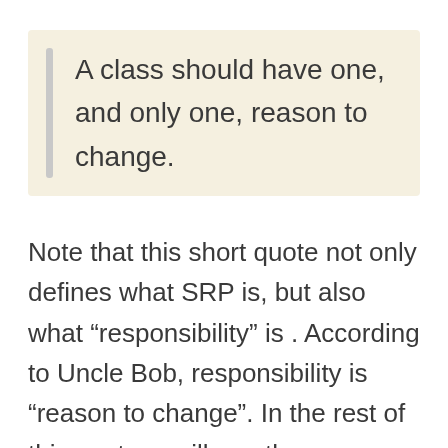A class should have one, and only one, reason to change.
Note that this short quote not only defines what SRP is, but also what “responsibility” is . According to Uncle Bob, responsibility is “reason to change”. In the rest of this post we will use these synonyms interchangeably.